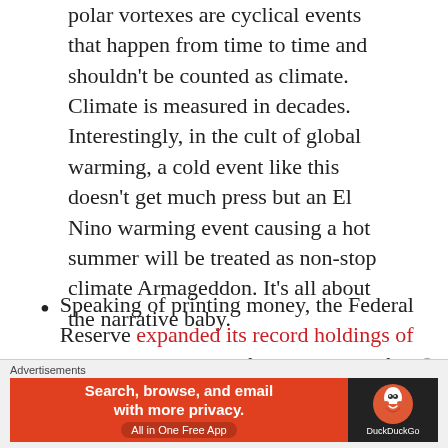polar vortexes are cyclical events that happen from time to time and shouldn't be counted as climate. Climate is measured in decades. Interestingly, in the cult of global warming, a cold event like this doesn't get much press but an El Nino warming event causing a hot summer will be treated as non-stop climate Armageddon. It's all about the narrative baby.
Speaking of printing money, the Federal Reserve expanded its record holdings of US Treasuries in the fourth quarter of 2020 as it continued monetizing the massive federal
Advertisements
[Figure (other): DuckDuckGo advertisement banner: orange background with text 'Search, browse, and email with more privacy. All in One Free App' and DuckDuckGo logo on dark background]